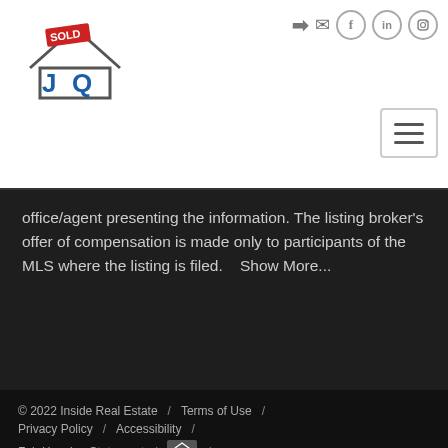[Figure (logo): Sold by JQ real estate logo with house icon and SOLD text]
[Figure (other): Navigation icons: login arrow, mail, Facebook, LinkedIn, Instagram circles; hamburger menu button]
office/agent presenting the information. The listing broker's offer of compensation is made only to participants of the MLS where the listing is filed.    Show More...
© 2022 Inside Real Estate / Terms of Use / Privacy Policy / Accessibility / Fair Housing Statement / [Equal Housing Opportunity logo] / [Google Select Language selector] / [Chat bubble icon]